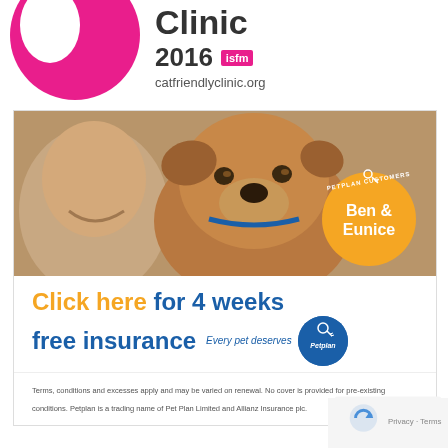[Figure (logo): Cat Friendly Clinic 2016 ISFM logo with pink circle and text 'Clinic 2016 isfm catfriendlyclinic.org']
[Figure (photo): Photo of a woman smiling with a brown/tan dog (Ben), with an orange circular badge reading 'PETPLAN CUSTOMERS Ben & Eunice']
Click here for 4 weeks free insurance  Every pet deserves Petplan
Terms, conditions and excesses apply and may be varied on renewal. No cover is provided for pre-existing conditions. Petplan is a trading name of Pet Plan Limited and Allianz Insurance plc.